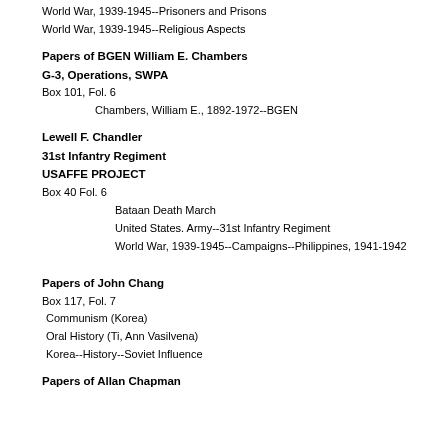World War, 1939-1945--Prisoners and Prisons
World War, 1939-1945--Religious Aspects
Papers of BGEN William E. Chambers
G-3, Operations, SWPA
Box 101, Fol. 6
Chambers, William E., 1892-1972--BGEN
Lewell F. Chandler
31st Infantry Regiment
USAFFE PROJECT
Box 40 Fol. 6
Bataan Death March
United States. Army--31st Infantry Regiment
World War, 1939-1945--Campaigns--Philippines, 1941-1942
Papers of John Chang
Box 117, Fol. 7
Communism (Korea)
Oral History (Ti, Ann Vasilvena)
Korea--History--Soviet Influence
Papers of Allan Chapman